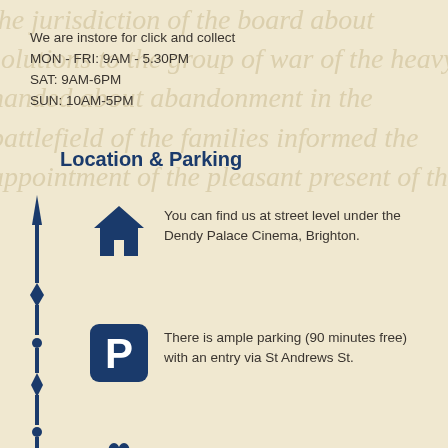We are instore for click and collect
MON - FRI: 9AM - 5.30PM
SAT: 9AM-6PM
SUN: 10AM-5PM
Location & Parking
[Figure (illustration): Decorative vertical ornamental line/spear divider on the left side]
[Figure (illustration): House/home icon in dark navy blue]
You can find us at street level under the Dendy Palace Cinema, Brighton.
[Figure (illustration): Parking icon - dark navy rounded square with white P]
There is ample parking (90 minutes free) with an entry via St Andrews St.
[Figure (illustration): Paw print icon in dark navy blue]
Dogs are welcome!
Contact Details
[Figure (screenshot): Google Maps screenshot showing Top Titles shop at Shop 3 Dendy Plaza, 26 Church St with map view and St Andrews St visible]